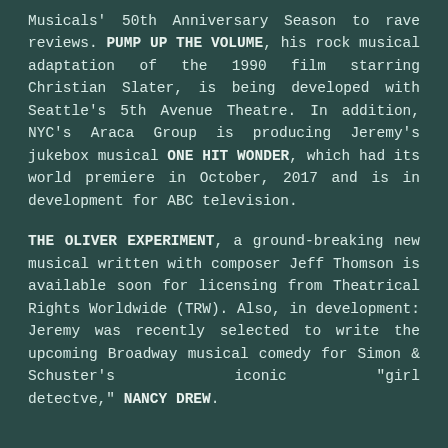Musicals' 50th Anniversary Season to rave reviews. PUMP UP THE VOLUME, his rock musical adaptation of the 1990 film starring Christian Slater, is being developed with Seattle's 5th Avenue Theatre. In addition, NYC's Araca Group is producing Jeremy's jukebox musical ONE HIT WONDER, which had its world premiere in October, 2017 and is in development for ABC television.
THE OLIVER EXPERIMENT, a groundbreaking new musical written with composer Jeff Thomson is available soon for licensing from Theatrical Rights Worldwide (TRW). Also, in development: Jeremy was recently selected to write the upcoming Broadway musical comedy for Simon & Schuster's iconic "girl detectve," NANCY DREW.